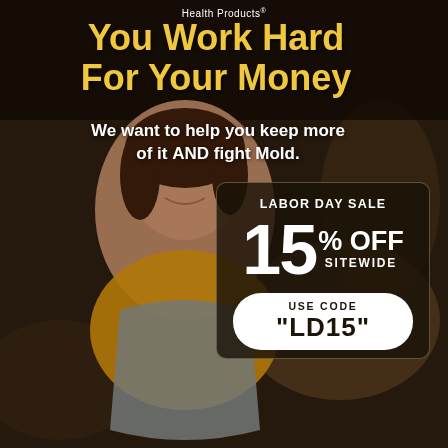[Figure (photo): Smiling woman wearing a yellow shirt and gray apron, holding a tablet, standing in a restaurant or cafe setting with blurred background]
Health Products®
You Work Hard For Your Money
We want to help you keep more of it AND fight Mold.
LABOR DAY SALE
15% OFF SITEWIDE
USE CODE "LD15"